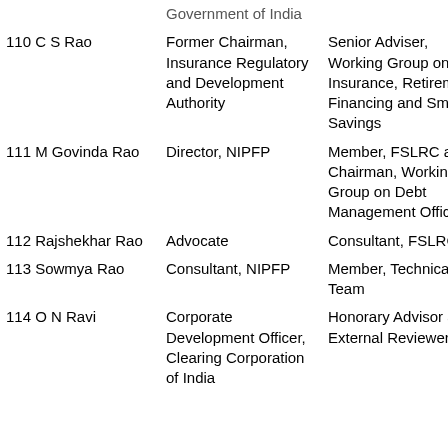| No. Name | Designation | Role in FSLRC |
| --- | --- | --- |
| (partial) ... | Government of India |  |
| 110 C S Rao | Former Chairman, Insurance Regulatory and Development Authority | Senior Adviser, Working Group on Insurance, Retirement Financing and Small Savings |
| 111 M Govinda Rao | Director, NIPFP | Member, FSLRC and Chairman, Working Group on Debt Management Office |
| 112 Rajshekhar Rao | Advocate | Consultant, FSLRC |
| 113 Sowmya Rao | Consultant, NIPFP | Member, Technical Team |
| 114 O N Ravi | Corporate Development Officer, Clearing Corporation of India | Honorary Advisor and External Reviewer, |